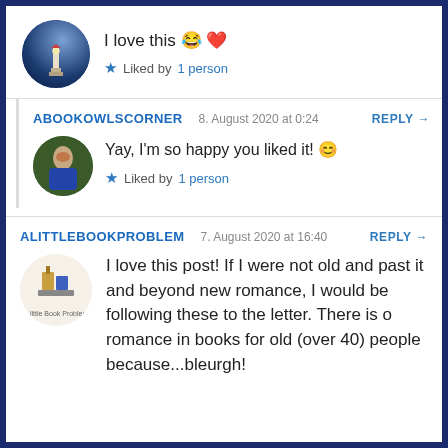I love this 😂 ❤️
★ Liked by 1 person
ABOOKOWLSCORNER  8. August 2020 at 0:24   REPLY →
Yay, I'm so happy you liked it! 😊
★ Liked by 1 person
ALITTLEBOOKPROBLEM  7. August 2020 at 16:40   REPLY →
I love this post! If I were not old and past it and beyond new romance, I would be following these to the letter. There is o romance in books for old (over 40) people because...bleurgh!